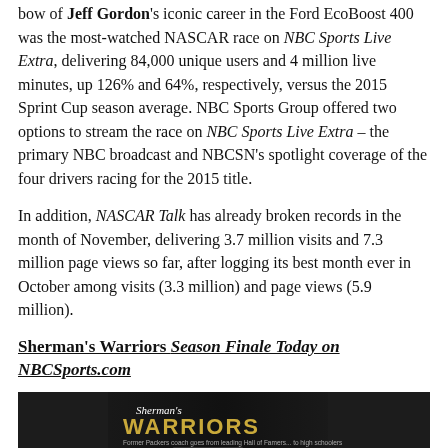bow of Jeff Gordon's iconic career in the Ford EcoBoost 400 was the most-watched NASCAR race on NBC Sports Live Extra, delivering 84,000 unique users and 4 million live minutes, up 126% and 64%, respectively, versus the 2015 Sprint Cup season average. NBC Sports Group offered two options to stream the race on NBC Sports Live Extra – the primary NBC broadcast and NBCSN's spotlight coverage of the four drivers racing for the 2015 title.
In addition, NASCAR Talk has already broken records in the month of November, delivering 3.7 million visits and 7.3 million page views so far, after logging its best month ever in October among visits (3.3 million) and page views (5.9 million).
Sherman's Warriors Season Finale Today on NBCSports.com
[Figure (photo): Banner advertisement for Sherman's Warriors on NBCSports.com showing dark background with gold text 'Sherman's WARRIORS', subtitle 'Former Packers coach goes from leading Hall of Famers... to high schoolers', and a Learn More button]
The season finale of Sherman's Warriors, the first project of NBC Sport's Group's short-form video initiative NBC Sports Digital Shorts, will be available later this afternoon on NBCSports.com. This six-episode original digital-production series follows former Green Bay Packers head...